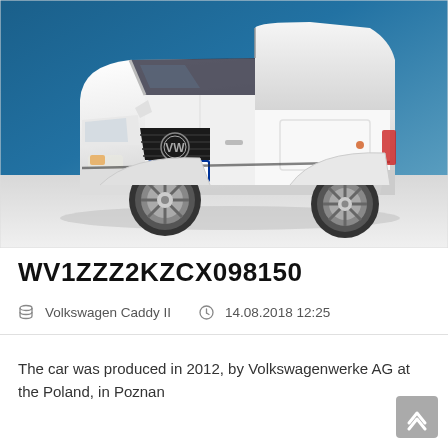[Figure (photo): White Volkswagen Caddy II van photographed against a blue studio background. The vehicle has a German license plate reading H*AH 820.]
WV1ZZZ2KZCX098150
Volkswagen Caddy II   14.08.2018 12:25
The car was produced in 2012, by Volkswagenwerke AG at the Poland, in Poznan